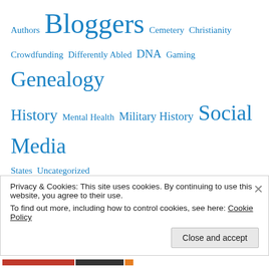Authors Bloggers Cemetery Christianity Crowdfunding Differently Abled DNA Gaming Genealogy History Mental Health Military History Social Media States Uncategorized
23andMe Amazon Ancestry.com AncestryDNA Autosomal DNA BackerKit Bible BillionGraves Bipolar Depression Blogs Book Reviews Books Bundle of
Privacy & Cookies: This site uses cookies. By continuing to use this website, you agree to their use. To find out more, including how to control cookies, see here: Cookie Policy